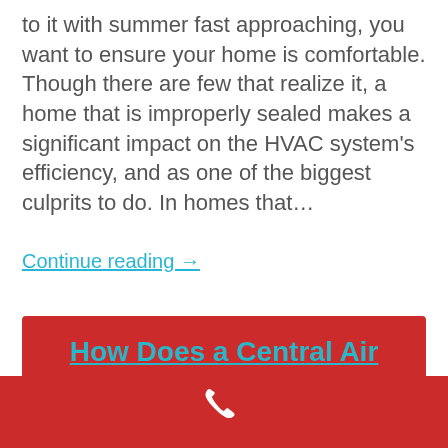to it with summer fast approaching, you want to ensure your home is comfortable. Though there are few that realize it, a home that is improperly sealed makes a significant impact on the HVAC system's efficiency, and as one of the biggest culprits to do. In homes that…
Continue reading →
How Does a Central Air Conditioner Work to Cool House & Make Rooms